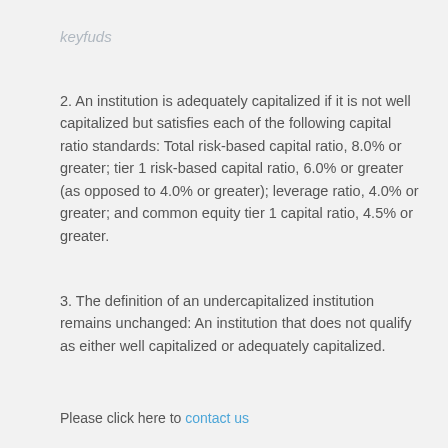keyfuds
2. An institution is adequately capitalized if it is not well capitalized but satisfies each of the following capital ratio standards: Total risk-based capital ratio, 8.0% or greater; tier 1 risk-based capital ratio, 6.0% or greater (as opposed to 4.0% or greater); leverage ratio, 4.0% or greater; and common equity tier 1 capital ratio, 4.5% or greater.
3. The definition of an undercapitalized institution remains unchanged: An institution that does not qualify as either well capitalized or adequately capitalized.
Please click here to contact us